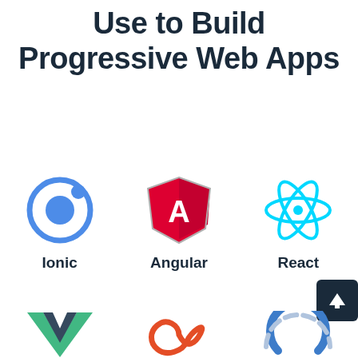Technology Stack We Use to Build Progressive Web Apps
[Figure (logo): Ionic framework logo - blue circle with smaller blue dot inside a ring]
Ionic
[Figure (logo): Angular logo - red shield with letter A]
Angular
[Figure (logo): React logo - cyan atom symbol]
React
[Figure (logo): Vue.js logo - green V shape]
[Figure (logo): Red infinity/loop logo (possibly Redux or similar)]
[Figure (logo): Blue and grey partial circle logo (possibly Angular Material or similar)]